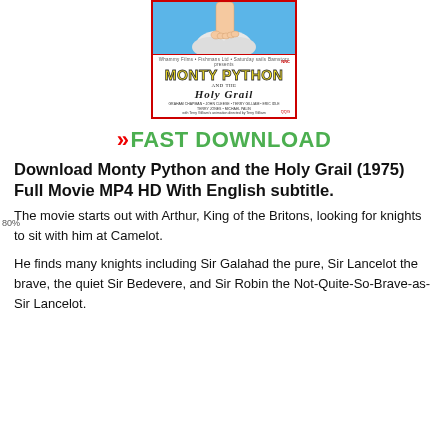[Figure (photo): Movie poster for Monty Python and the Holy Grail (1975). Blue sky background with a foot/arm coming from clouds at top. Red border around white lower half showing 'Monty Python and the Holy Grail' title text in yellow and black stylized fonts. Credits and NRC/QQG logos visible.]
»FAST DOWNLOAD
80%
Download Monty Python and the Holy Grail (1975) Full Movie MP4 HD With English subtitle.
The movie starts out with Arthur, King of the Britons, looking for knights to sit with him at Camelot.
He finds many knights including Sir Galahad the pure, Sir Lancelot the brave, the quiet Sir Bedevere, and Sir Robin the Not-Quite-So-Brave-as-Sir Lancelot.